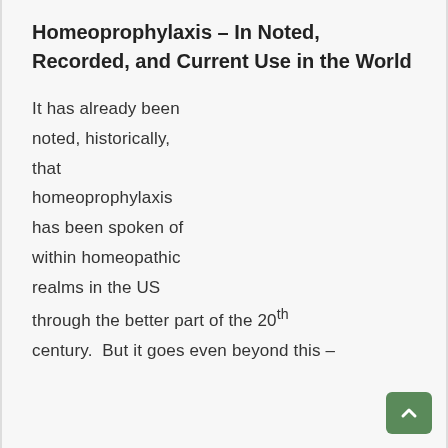Homeoprophylaxis – In Noted, Recorded, and Current Use in the World
It has already been noted, historically, that homeoprophylaxis has been spoken of within homeopathic realms in the US through the better part of the 20th century. But it goes even beyond this –